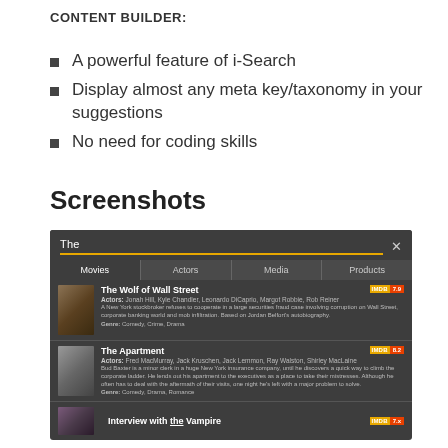CONTENT BUILDER:
A powerful feature of i-Search
Display almost any meta key/taxonomy in your suggestions
No need for coding skills
Screenshots
[Figure (screenshot): A dark-themed search interface showing 'The' in the search bar with tabs for Movies, Actors, Media, Products. Results show The Wolf of Wall Street (IMDB 7.9), The Apartment (IMDB 8.2), and Interview with the Vampire (IMDB 7.x) with movie details, actors, descriptions, and genre tags.]